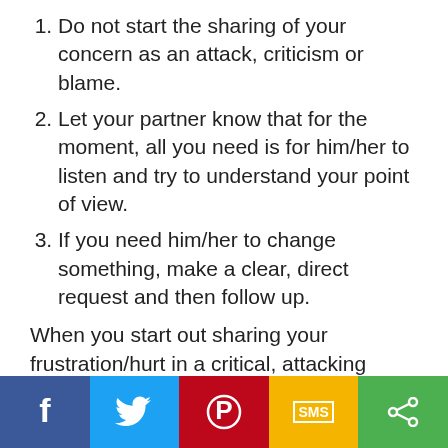Do not start the sharing of your concern as an attack, criticism or blame.
Let your partner know that for the moment, all you need is for him/her to listen and try to understand your point of view.
If you need him/her to change something, make a clear, direct request and then follow up.
When you start out sharing your frustration/hurt in a critical, attacking tone, it only sets up your partner to react defensively. This is a natural response and all you have to do is see your own response when your partner starts out on the attack. You must start out softly, saying things like, "I know you probably didn't mean this but I was really hurt by... and what I really need from you is..." In other words, express your
Social share bar with Facebook, Twitter, Pinterest, SMS, Share buttons